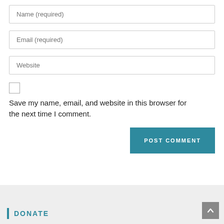Name (required)
Email (required)
Website
Save my name, email, and website in this browser for the next time I comment.
POST COMMENT
Donate